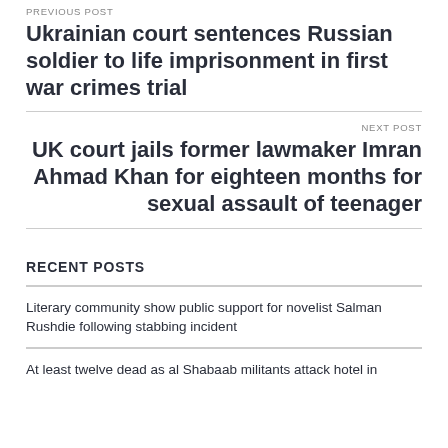PREVIOUS POST
Ukrainian court sentences Russian soldier to life imprisonment in first war crimes trial
NEXT POST
UK court jails former lawmaker Imran Ahmad Khan for eighteen months for sexual assault of teenager
RECENT POSTS
Literary community show public support for novelist Salman Rushdie following stabbing incident
At least twelve dead as al Shabaab militants attack hotel in